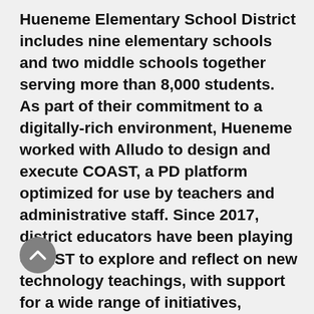Hueneme Elementary School District includes nine elementary schools and two middle schools together serving more than 8,000 students. As part of their commitment to a digitally-rich environment, Hueneme worked with Alludo to design and execute COAST, a PD platform optimized for use by teachers and administrative staff. Since 2017, district educators have been playing COAST to explore and reflect on new technology teachings, with support for a wide range of initiatives, including digital tools, professional learning, pedagogy, collaboration, and SAMR.